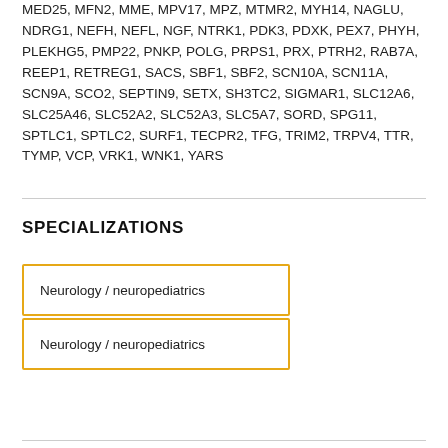MED25, MFN2, MME, MPV17, MPZ, MTMR2, MYH14, NAGLU, NDRG1, NEFH, NEFL, NGF, NTRK1, PDK3, PDXK, PEX7, PHYH, PLEKHG5, PMP22, PNKP, POLG, PRPS1, PRX, PTRH2, RAB7A, REEP1, RETREG1, SACS, SBF1, SBF2, SCN10A, SCN11A, SCN9A, SCO2, SEPTIN9, SETX, SH3TC2, SIGMAR1, SLC12A6, SLC25A46, SLC52A2, SLC52A3, SLC5A7, SORD, SPG11, SPTLC1, SPTLC2, SURF1, TECPR2, TFG, TRIM2, TRPV4, TTR, TYMP, VCP, VRK1, WNK1, YARS
SPECIALIZATIONS
Neurology / neuropediatrics
Neurology / neuropediatrics